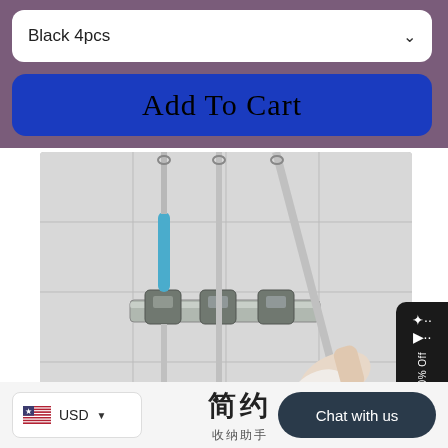Black 4pcs
Add To Cart
[Figure (photo): A wall-mounted mop and broom holder bracket showing three cleaning tools (a blue-handled mop, a grey broom, and a metal handle) clipped into a stainless steel wall rack. A hand is shown inserting or removing one of the long-handled tools.]
[Figure (infographic): Black side badge with celebration/confetti icon and text 'Get 30% Off']
USD
简约
收纳助手
Chat with us